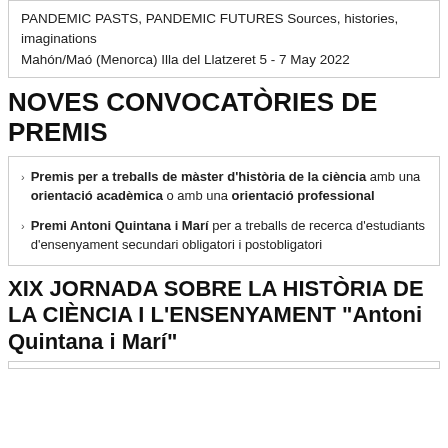PANDEMIC PASTS, PANDEMIC FUTURES Sources, histories, imaginations
Mahón/Maó (Menorca) Illa del Llatzeret 5 - 7 May 2022
NOVES CONVOCATÒRIES DE PREMIS
Premis per a treballs de màster d'història de la ciència amb una orientació acadèmica o amb una orientació professional
Premi Antoni Quintana i Marí per a treballs de recerca d'estudiants d'ensenyament secundari obligatori i postobligatori
XIX JORNADA SOBRE LA HISTÒRIA DE LA CIÈNCIA I L'ENSENYAMENT "Antoni Quintana i Marí"